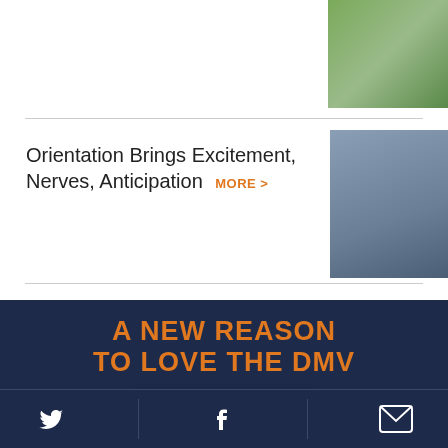[Figure (photo): Photo of students outdoors, top right corner]
Orientation Brings Excitement, Nerves, Anticipation MORE >
[Figure (photo): Photo of a smiling student at orientation event]
[Figure (infographic): Dark navy banner with orange text 'A NEW REASON TO LOVE THE DMV' and a Virginia license plate reading WAHOOS with UVA logo]
Twitter | Facebook | Email icons